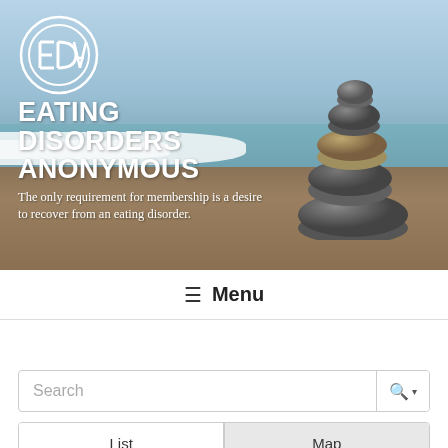[Figure (photo): Hero banner image of a beach scene with stacked zen stones/rocks on sandy shore with ocean waves in the background. White EDA circular logo in top-left corner.]
EATING DISORDERS ANONYMOUS
The only requirement for membership is a desire to recover from an eating disorder.
≡ Menu
Search
List
Map
Everywhere ▾